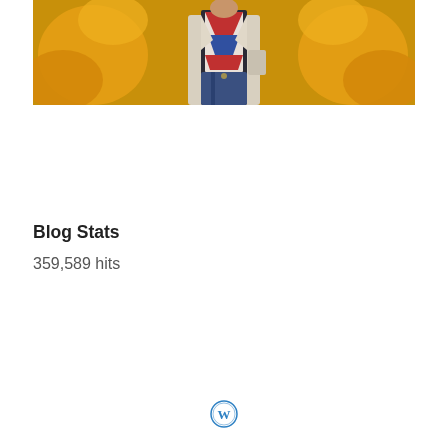[Figure (photo): A person wearing a patterned vest over a white shirt with jeans, standing in front of a colorful orange/yellow floral background]
Blog Stats
359,589 hits
[Figure (logo): WordPress logo - circular blue W icon]